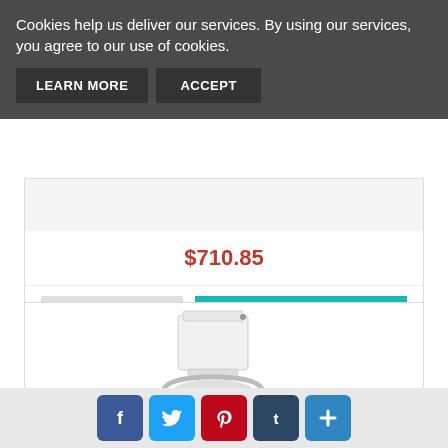Cookies help us deliver our services. By using our services, you agree to our use of cookies.
LEARN MORE
ACCEPT
$710.85
VIEW
BUY NOW
[Figure (photo): White toilet with tank and seat, product photo on white background]
[Figure (infographic): Social media sharing bar with Facebook, Twitter, Pinterest, Tumblr, and share plus buttons]